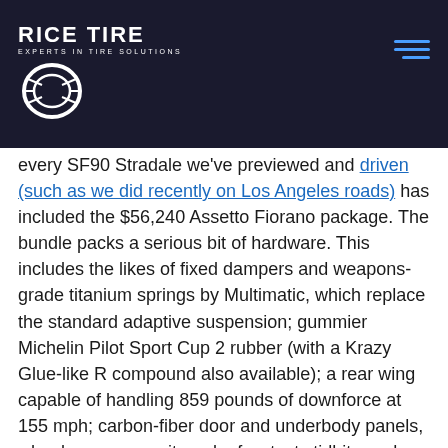[Figure (logo): Rice Tire – Experts in Tire Solutions logo with circular tire graphic on dark navy header bar with hamburger menu icon]
every SF90 Stradale we've previewed and driven (such as we did recently on Los Angeles roads) has included the $56,240 Assetto Fiorano package. The bundle packs a serious bit of hardware. This includes the likes of fixed dampers and weapons-grade titanium springs by Multimatic, which replace the standard adaptive suspension; gummier Michelin Pilot Sport Cup 2 rubber (with a Krazy Glue-like R compound also available); a rear wing capable of handling 859 pounds of downforce at 155 mph; carbon-fiber door and underbody panels, wheels, you name it; and a few tasty tidbits such as a Lexan peekaboo engine cover and a titanium and Inconel exhaust.
Idling auspiciously just a stone's throw from Enzo's old Fiorano trackside office, the 2021 Ferrari SF90 Stradale Assetto Fiorano looks and sounds the part of speed.